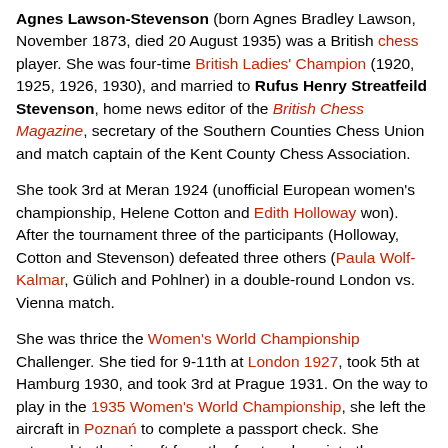Agnes Lawson-Stevenson (born Agnes Bradley Lawson, November 1873, died 20 August 1935) was a British chess player. She was four-time British Ladies' Champion (1920, 1925, 1926, 1930), and married to Rufus Henry Streatfeild Stevenson, home news editor of the British Chess Magazine, secretary of the Southern Counties Chess Union and match captain of the Kent County Chess Association.
She took 3rd at Meran 1924 (unofficial European women's championship, Helene Cotton and Edith Holloway won). After the tournament three of the participants (Holloway, Cotton and Stevenson) defeated three others (Paula Wolf-Kalmar, Gülich and Pohlner) in a double-round London vs. Vienna match.
She was thrice the Women's World Championship Challenger. She tied for 9-11th at London 1927, took 5th at Hamburg 1930, and took 3rd at Prague 1931. On the way to play in the 1935 Women's World Championship, she left the aircraft in Poznań to complete a passport check. She returned to the aircraft from the front and ran into the propellor and was killed.
Her husband also competed in the 1927 to Women's World...